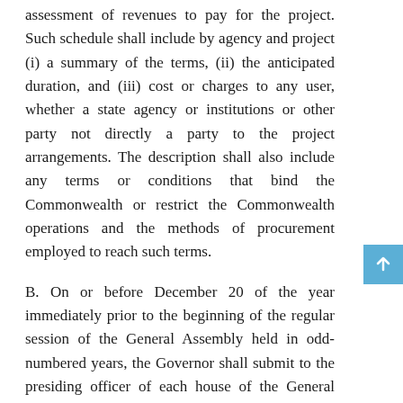assessment of revenues to pay for the project. Such schedule shall include by agency and project (i) a summary of the terms, (ii) the anticipated duration, and (iii) cost or charges to any user, whether a state agency or institutions or other party not directly a party to the project arrangements. The description shall also include any terms or conditions that bind the Commonwealth or restrict the Commonwealth operations and the methods of procurement employed to reach such terms.
B. On or before December 20 of the year immediately prior to the beginning of the regular session of the General Assembly held in odd-numbered years, the Governor shall submit to the presiding officer of each house of the General Assembly printed copies of a budget document, which shall be known as "Executive Amendments to the Appropriation Act," describing all gubernatorial amendments proposed to the general appropriation act enacted in the immediately preceding even-numbered session.